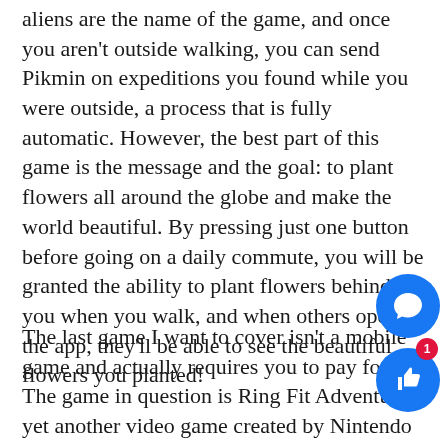aliens are the name of the game, and once you aren't outside walking, you can send Pikmin on expeditions you found while you were outside, a process that is fully automatic. However, the best part of this game is the message and the goal: to plant flowers all around the globe and make the world beautiful. By pressing just one button before going on a daily commute, you will be granted the ability to plant flowers behind you when you walk, and when others open the app, they'll be able to see the beautiful flowers you planted!
The last game I want to cover isn't a mobile game and actually requires you to pay for it. The game in question is Ring Fit Adventure, yet another video game created by Nintendo (they seem to do this a LOT). This one deviates from the other two in the fact that you do not need to go outside in order to play this. The main focus of the game is to do at-home exercises with video game controllers in order to